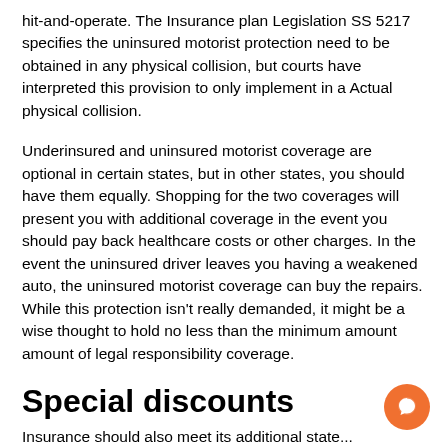hit-and-operate. The Insurance plan Legislation SS 5217 specifies the uninsured motorist protection need to be obtained in any physical collision, but courts have interpreted this provision to only implement in a Actual physical collision.
Underinsured and uninsured motorist coverage are optional in certain states, but in other states, you should have them equally. Shopping for the two coverages will present you with additional coverage in the event you should pay back healthcare costs or other charges. In the event the uninsured driver leaves you having a weakened auto, the uninsured motorist coverage can buy the repairs. While this protection isn't really demanded, it might be a wise thought to hold no less than the minimum amount amount of legal responsibility coverage.
Special discounts
Insurance should also meet its additional state...